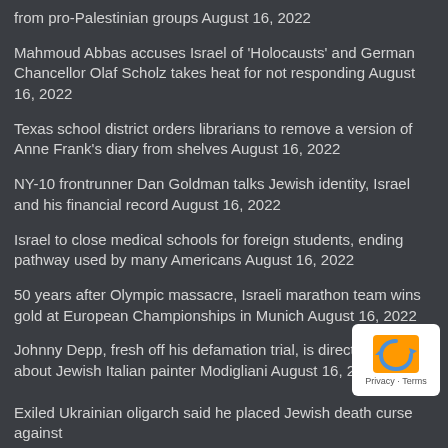from pro-Palestinian groups August 16, 2022
Mahmoud Abbas accuses Israel of 'Holocausts' and German Chancellor Olaf Scholz takes heat for not responding August 16, 2022
Texas school district orders librarians to remove a version of Anne Frank's diary from shelves August 16, 2022
NY-10 frontrunner Dan Goldman talks Jewish identity, Israel and his financial record August 16, 2022
Israel to close medical schools for foreign students, ending pathway used by many Americans August 16, 2022
50 years after Olympic massacre, Israeli marathon team wins gold at European Championships in Munich August 16, 2022
Johnny Depp, fresh off his defamation trial, is directing a film about Jewish Italian painter Modigliani August 16, 2022
Hungarian music festival bans Spanish hip-hop group for defacing Israeli flag August 16, 2022
Svika Pick, Eurovision-winning singer who coaxed Israel into world of pop, dies at 72 August 16, 2022
Exiled Ukrainian oligarch said he placed Jewish death curse against